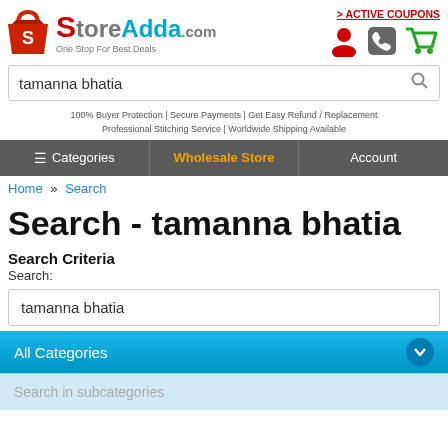[Figure (logo): StoreAdda.com logo with shopping bag icon and tagline 'One Stop For Best Deals']
> ACTIVE COUPONS
tamanna bhatia
100% Buyer Protection | Secure Payments | Get Easy Refund / Replacement
Professional Stitching Service | Worldwide Shipping Available
≡ Categories | Wholesale Store | Account
Home » Search
Search - tamanna bhatia
Search Criteria
Search:
tamanna bhatia
All Categories
Search in subcategories